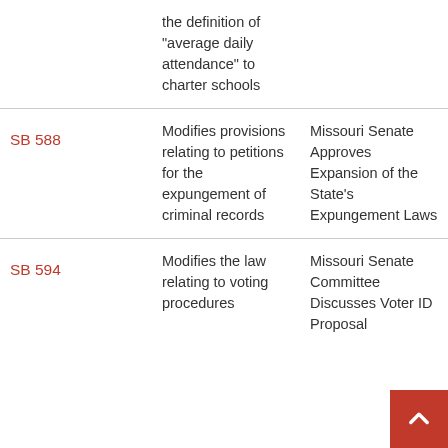the definition of “average daily attendance” to charter schools
SB 588
Modifies provisions relating to petitions for the expungement of criminal records
Missouri Senate Approves Expansion of the State’s Expungement Laws
SB 594
Modifies the law relating to voting procedures
Missouri Senate Committee Discusses Voter ID Proposal